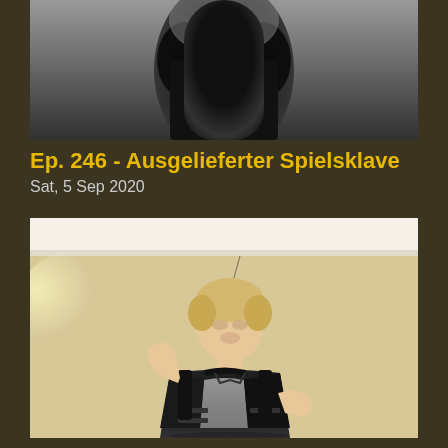[Figure (photo): Top portion of a person wearing a black latex/leather outfit, cropped at torso level, against a light wall background.]
Ep. 246 - Ausgelieferter Spielsklave
Sat, 5 Sep 2020
[Figure (photo): A woman with blonde hair wearing a black latex corset/dress with buckles and mesh panel details, holding something in her hand, posed against a beige wall with white crown molding visible at top.]